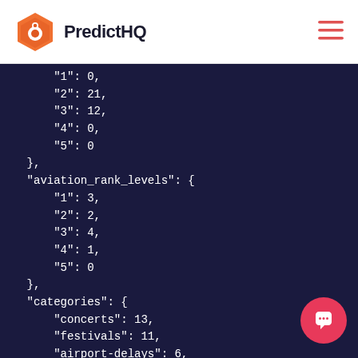PredictHQ
"1": 0,
"2": 21,
"3": 12,
"4": 0,
"5": 0
},
"aviation_rank_levels": {
    "1": 3,
    "2": 2,
    "3": 4,
    "4": 1,
    "5": 0
},
"categories": {
    "concerts": 13,
    "festivals": 11,
    "airport-delays": 6,
    "sports": 4,
    "politics": 1,
    "school-holidays": 1,